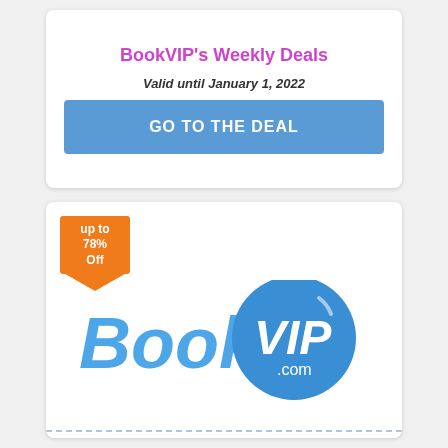BookVIP's Weekly Deals
Valid until January 1, 2022
GO TO THE DEAL
[Figure (logo): BookVIP.com logo with orange badge showing 'up to 78% Off' and the BookVIP.com logo in blue]